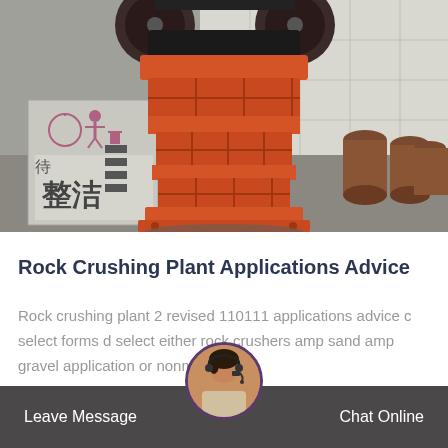[Figure (photo): Orange jaw crusher machine displayed outdoors near a wall with Chinese text sign and cylindrical metal parts]
Rock Crushing Plant Applications Advice
Rock crushing plant 2 revised 110111 applications advice c select forms d select either rock crushers amp sand amp gravel application or nonmetallic…
More Details —
Leave Message   Chat Online